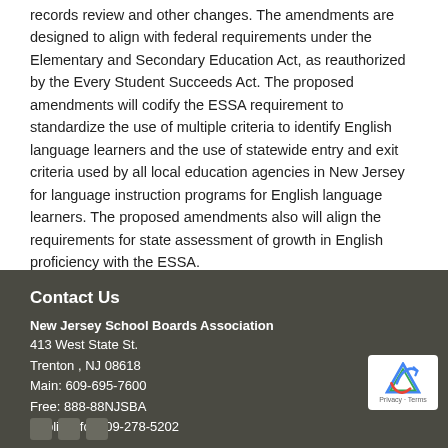records review and other changes. The amendments are designed to align with federal requirements under the Elementary and Secondary Education Act, as reauthorized by the Every Student Succeeds Act. The proposed amendments will codify the ESSA requirement to standardize the use of multiple criteria to identify English language learners and the use of statewide entry and exit criteria used by all local education agencies in New Jersey for language instruction programs for English language learners. The proposed amendments also will align the requirements for state assessment of growth in English proficiency with the ESSA.
Contact Us
New Jersey School Boards Association
413 West State St.
Trenton , NJ 08618
Main: 609-695-7600
Free: 888-88NJSBA
Public Info: 609-278-5202